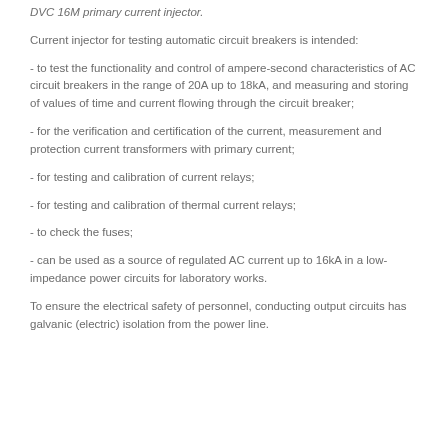DVC 16M primary current injector.
Current injector for testing automatic circuit breakers is intended:
- to test the functionality and control of ampere-second characteristics of AC circuit breakers in the range of 20A up to 18kA, and measuring and storing of values of time and current flowing through the circuit breaker;
- for the verification and certification of the current, measurement and protection current transformers with primary current;
- for testing and calibration of current relays;
- for testing and calibration of thermal current relays;
- to check the fuses;
- can be used as a source of regulated AC current up to 16kA in a low-impedance power circuits for laboratory works.
To ensure the electrical safety of personnel, conducting output circuits has galvanic (electric) isolation from the power line.